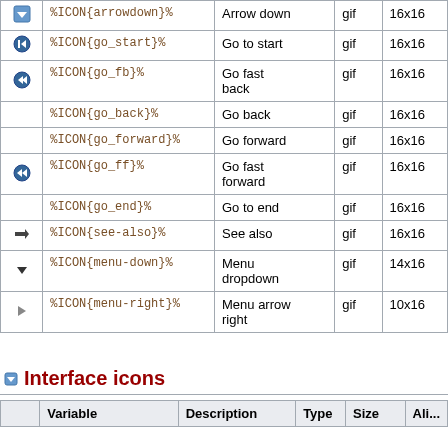|  | Variable | Description | Type | Size |
| --- | --- | --- | --- | --- |
| [arrowdown icon] | %ICON{arrowdown}% | Arrow down | gif | 16x16 |
| [go_start icon] | %ICON{go_start}% | Go to start | gif | 16x16 |
| [go_fb icon] | %ICON{go_fb}% | Go fast back | gif | 16x16 |
|  | %ICON{go_back}% | Go back | gif | 16x16 |
|  | %ICON{go_forward}% | Go forward | gif | 16x16 |
| [go_ff icon] | %ICON{go_ff}% | Go fast forward | gif | 16x16 |
|  | %ICON{go_end}% | Go to end | gif | 16x16 |
| [see-also icon] | %ICON{see-also}% | See also | gif | 16x16 |
| [menu-down icon] | %ICON{menu-down}% | Menu dropdown | gif | 14x16 |
| [menu-right icon] | %ICON{menu-right}% | Menu arrow right | gif | 10x16 |
Interface icons
|  | Variable | Description | Type | Size | Ali... |
| --- | --- | --- | --- | --- | --- |